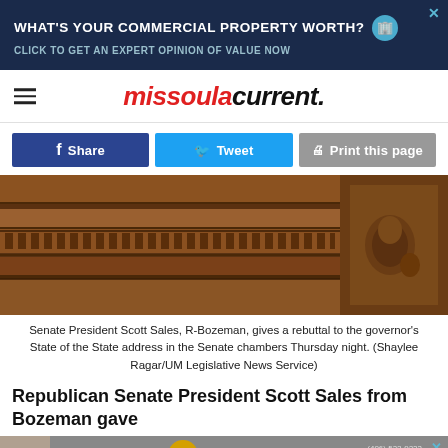[Figure (screenshot): Top advertisement banner: dark navy background with text 'WHAT'S YOUR COMMERCIAL PROPERTY WORTH? CLICK TO GET AN EXPERT OPINION OF VALUE NOW']
missoula current.
Share  Tweet  Print this page
[Figure (photo): Close-up photo of ornate dark wood carved furniture/paneling in Senate chambers]
Senate President Scott Sales, R-Bozeman, gives a rebuttal to the governor's State of the State address in the Senate chambers Thursday night. (Shaylee Ragar/UM Legislative News Service)
Republican Senate President Scott Sales from Bozeman gave
[Figure (screenshot): Bottom advertisement banner for JulieGardnerProperties.com with phone (406) 532-9233]